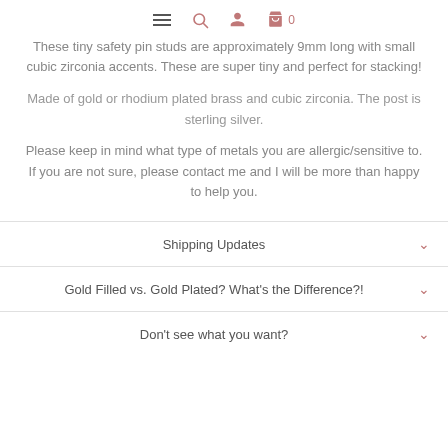Navigation header with menu, search, user, and bag icons
These tiny safety pin studs are approximately 9mm long with small cubic zirconia accents. These are super tiny and perfect for stacking!
Made of gold or rhodium plated brass and cubic zirconia. The post is sterling silver.
Please keep in mind what type of metals you are allergic/sensitive to. If you are not sure, please contact me and I will be more than happy to help you.
Shipping Updates
Gold Filled vs. Gold Plated? What's the Difference?!
Don't see what you want?